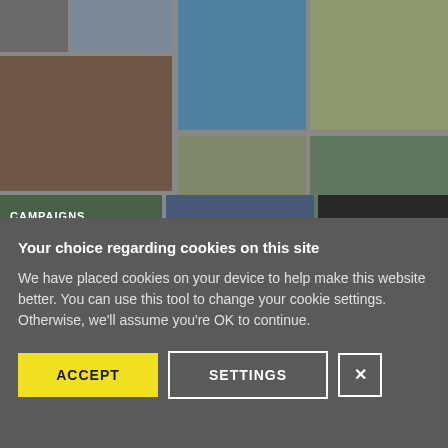[Figure (photo): A collage of protest and campaign-related photographs arranged in a grid, including people holding signs, people at demonstrations, and other activist imagery. A 'CAMPAIGNS' label is visible in the lower-left area of the collage.]
Your choice regarding cookies on this site
We have placed cookies on your device to help make this website better. You can use this tool to change your cookie settings. Otherwise, we'll assume you're OK to continue.
ACCEPT | SETTINGS | X